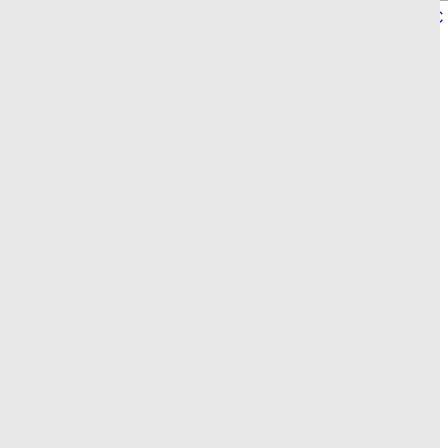| Number | State | Name |  |
| --- | --- | --- | --- |
| 513-707-1 | OH | LEVEL 3 TELECOM OF OHIO, LLC - (CenturyLink, Inc) | 7 |
| 513-707-2 | OH | CELLCO PARTNERSHIP DBA VERIZON (Verizon Wireless) | 6 |